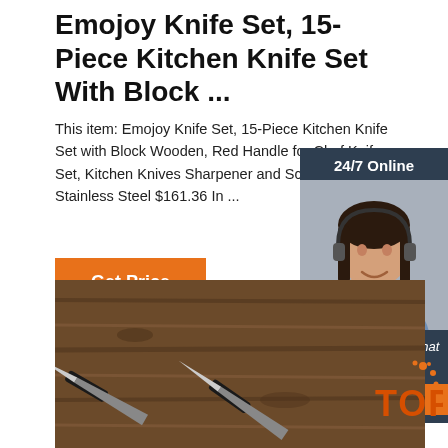Emojoy Knife Set, 15-Piece Kitchen Knife Set With Block ...
This item: Emojoy Knife Set, 15-Piece Kitchen Knife Set with Block Wooden, Red Handle for Chef Knife Set, Kitchen Knives Sharpener and Scissors Stainless Steel $161.36 In ...
[Figure (other): Orange 'Get Price' button]
[Figure (other): 24/7 Online chat widget with customer service representative photo, 'Click here for free chat!' text, and orange QUOTATION button]
[Figure (photo): Kitchen knives on a wooden table surface]
[Figure (logo): TOP badge with orange dots and text]